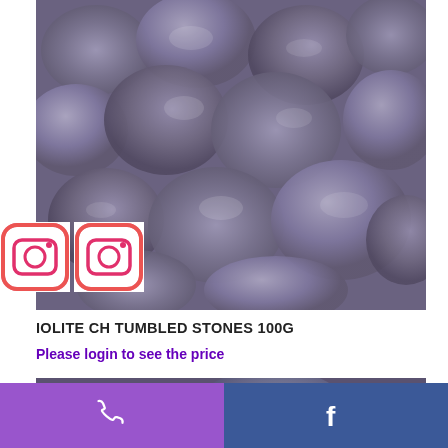[Figure (photo): Close-up photo of multiple polished iolite tumbled stones in blue-gray and purple hues.]
[Figure (logo): Instagram icon with red/orange gradient border, top icon]
[Figure (logo): Instagram icon with red/orange gradient border, bottom icon]
IOLITE CH TUMBLED STONES 100G
Please login to see the price
[Figure (photo): Close-up photo of polished iolite tumbled stones showing dark gray and purple coloring with reflective surfaces.]
Phone | Facebook